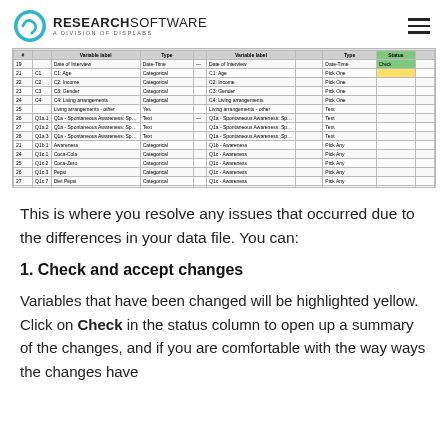RESEARCHSOFTWARE A DIVISION OF DISPLABS
[Figure (screenshot): A software interface showing a data mapping/variable comparison table with two panels side by side. Variables are listed with their types (Categorical, Numerical, Text, Yes). Some cells are highlighted in green and yellow. A footer shows tabs for Variables and Questions, Data, Notes.]
This is where you resolve any issues that occurred due to the differences in your data file. You can:
1. Check and accept changes
Variables that have been changed will be highlighted yellow. Click on Check in the status column to open up a summary of the changes, and if you are comfortable with the way ways the changes have